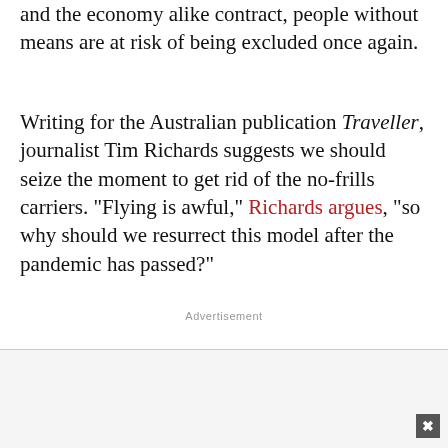and the economy alike contract, people without means are at risk of being excluded once again.
Writing for the Australian publication Traveller, journalist Tim Richards suggests we should seize the moment to get rid of the no-frills carriers. "Flying is awful," Richards argues, "so why should we resurrect this model after the pandemic has passed?"
Advertisement